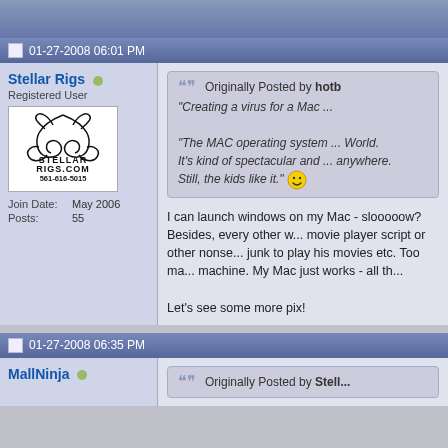01-27-2008 06:01 PM
Stellar Rigs
Registered User
[Figure (logo): Stellar Rigs logo with tribal design and text STELLARRIGS.COM 561-616-5015]
Join Date: May 2006
Posts: 55
Originally Posted by hotb
"Creating a virus for a Mac ..."
"The MAC operating system ... World.
It's kind of spectacular and ... anywhere.
Still, the kids like it."
I can launch windows on my Mac - slooooow? Besides, every other w... movie player script or other nonse... junk to play his movies etc. Too ma... machine. My Mac just works - all th...

Let's see some more pix!
01-27-2008 06:35 PM
MallNinja
Originally Posted by Stell...